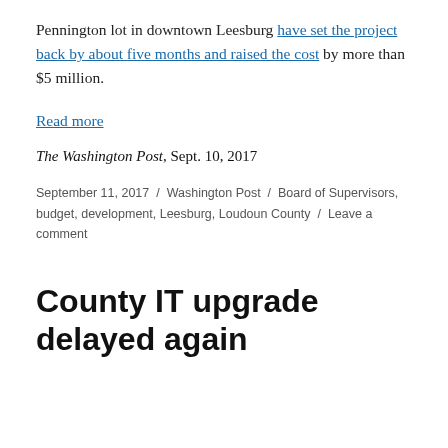Pennington lot in downtown Leesburg have set the project back by about five months and raised the cost by more than $5 million.
Read more
The Washington Post, Sept. 10, 2017
September 11, 2017 / Washington Post / Board of Supervisors, budget, development, Leesburg, Loudoun County / Leave a comment
County IT upgrade delayed again